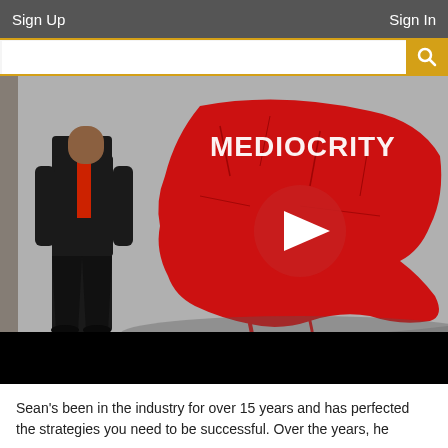Sign Up    Sign In
[Figure (screenshot): Video thumbnail showing a person in a black suit standing next to a red cracked USA map with the text MEDIOCRITY and a YouTube play button overlay. The bottom portion of the video player is black.]
Sean's been in the industry for over 15 years and has perfected the strategies you need to be successful. Over the years, he